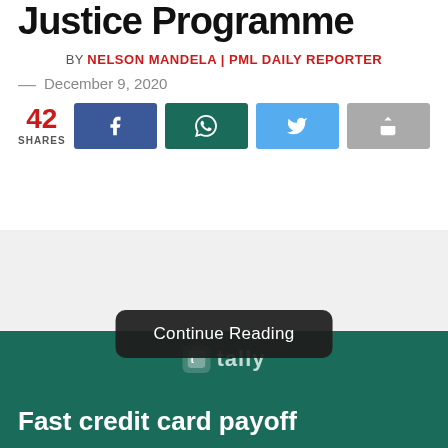Justice Programme
BY NELSON MANDELA | PML DAILY REPORTER
— December 9, 2020
42 SHARES
[Figure (screenshot): Social share buttons: Facebook (blue), WhatsApp (dark teal), Twitter (light blue), Share (grey)]
[Figure (screenshot): Continue Reading button overlay on advertisement area]
[Figure (infographic): Tally app advertisement banner with text 'Fast credit card payoff' on dark teal background]